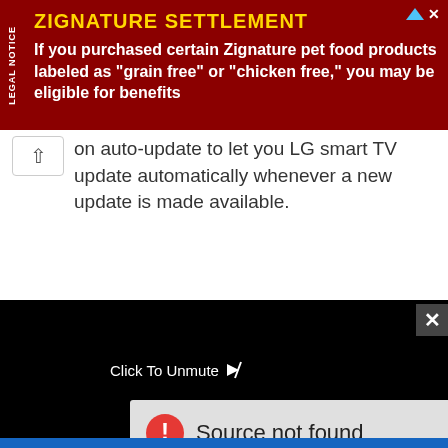[Figure (screenshot): Advertisement banner for Zignature Settlement with dark red background. Text reads: ZIGNATURE SETTLEMENT - If you purchased certain Zignature pet food products labeled as 'grain free' or 'chicken free,' you may be eligible for benefits. Has a 'LEGAL NOTICE' vertical tab on the left side.]
on auto-update to let you LG smart TV update automatically whenever a new update is made available.
How useful is this article to you? Let's hear it out from your comments below. For more useful article updates, you can
[Figure (screenshot): Video player with black background. Shows 'Click To Unmute' text with cursor icon, and a 'Source not found' error message in a light gray box with a red exclamation icon. A close (X) button is in the top right corner.]